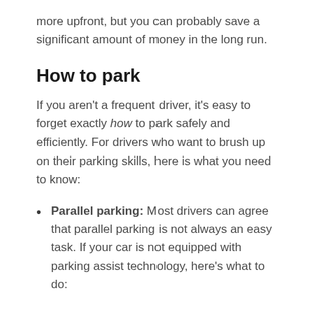more upfront, but you can probably save a significant amount of money in the long run.
How to park
If you aren't a frequent driver, it's easy to forget exactly how to park safely and efficiently. For drivers who want to brush up on their parking skills, here is what you need to know:
Parallel parking: Most drivers can agree that parallel parking is not always an easy task. If your car is not equipped with parking assist technology, here's what to do: